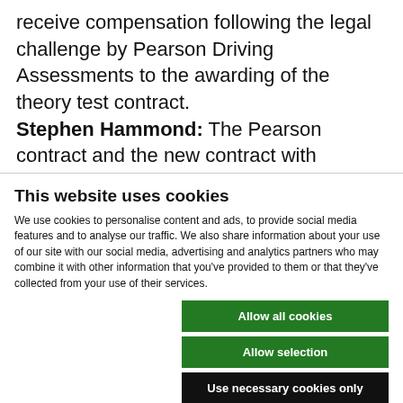receive compensation following the legal challenge by Pearson Driving Assessments to the awarding of the theory test contract. Stephen Hammond: The Pearson contract and the new contract with learndirect were the subject of confidential commercial ...
This website uses cookies
We use cookies to personalise content and ads, to provide social media features and to analyse our traffic. We also share information about your use of our site with our social media, advertising and analytics partners who may combine it with other information that you've provided to them or that they've collected from your use of their services.
Allow all cookies | Allow selection | Use necessary cookies only
Necessary [checked] | Preferences | Statistics | Marketing | Show details